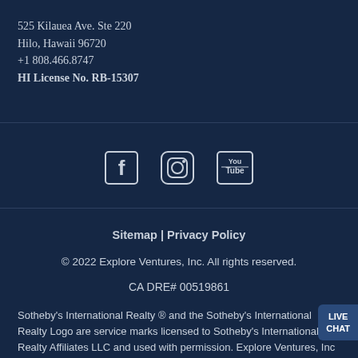525 Kilauea Ave. Ste 220
Hilo, Hawaii 96720
+1 808.466.8747
HI License No. RB-15307
[Figure (illustration): Social media icons: Facebook, Instagram, YouTube]
Sitemap | Privacy Policy
© 2022 Explore Ventures, Inc. All rights reserved.
CA DRE# 00519861
Sotheby's International Realty ® and the Sotheby's International Realty Logo are service marks licensed to Sotheby's International Realty Affiliates LLC and used with permission. Explore Ventures, Inc fully supports the principles of the Fair Housing Act and the Equal Opportunity Act. Each franchise is independently owned and operated. Any services or products provided by independently owned and operated franchises are not provided by, affiliated with or related to Sotheby's International Realty Affiliates LLC nor any of its affiliated companies.